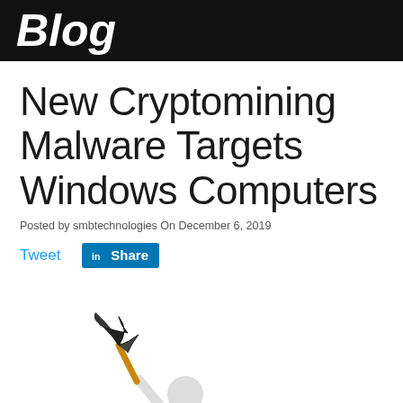Blog
New Cryptomining Malware Targets Windows Computers
Posted by smbtechnologies On December 6, 2019
Tweet  Share
[Figure (illustration): 3D cartoon figure of a white humanoid character holding a pickaxe raised overhead, standing on top of gold Bitcoin coins. The character is depicted as a cryptocurrency miner.]